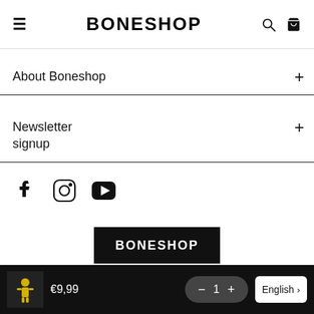BONESHOP
About Boneshop
Newsletter signup
[Figure (logo): Social media icons: Facebook, Instagram, YouTube]
[Figure (logo): Boneshop logo on black background at bottom of page]
€9,99  −  1  +  English >